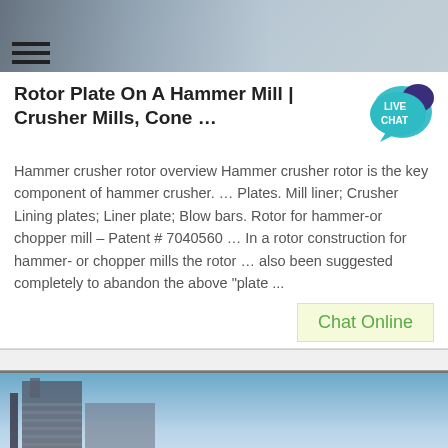[Figure (photo): Top banner image showing industrial equipment, grayish-blue tones]
Rotor Plate On A Hammer Mill | Crusher Mills, Cone …
[Figure (illustration): Live Chat speech bubble badge icon in teal/dark blue]
Hammer crusher rotor overview Hammer crusher rotor is the key component of hammer crusher. … Plates. Mill liner; Crusher Lining plates; Liner plate; Blow bars. Rotor for hammer-or chopper mill – Patent # 7040560 … In a rotor construction for hammer- or chopper mills the rotor … also been suggested completely to abandon the above "plate ...
Chat Online
[Figure (photo): Bottom banner image showing industrial building or crusher equipment against blue sky]
Get a Quote
WhatsApp